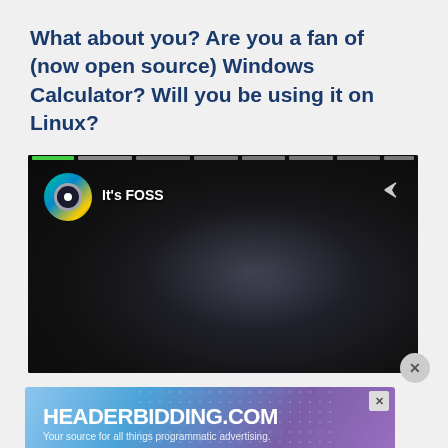What about you? Are you a fan of (now open source) Windows Calculator? Will you be using it on Linux?
[Figure (screenshot): YouTube-style video player with dark background showing 'It's FOSS' channel name and icon. A progress bar is visible at the top. A share arrow icon is in the upper right. A close (X) button appears at the lower right of the player.]
[Figure (screenshot): Advertisement banner for HEADERBIDDING.COM with tagline 'Your source for all things programmatic advertising.' Blue/purple gradient background with dot pattern. Close button (X) in upper right corner.]